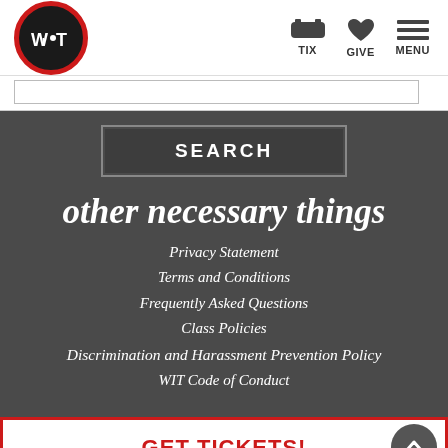WIT — TIX GIVE MENU
SEARCH
other necessary things
Privacy Statement
Terms and Conditions
Frequently Asked Questions
Class Policies
Discrimination and Harassment Prevention Policy
WIT Code of Conduct
GET TICKETS!